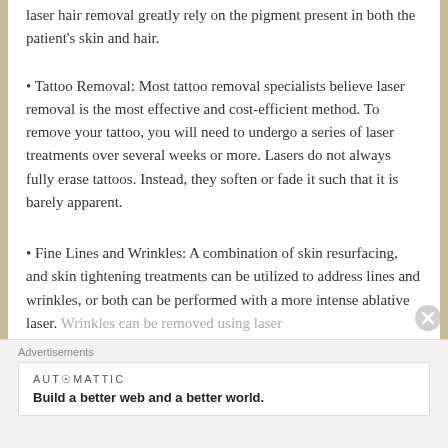laser hair removal greatly rely on the pigment present in both the patient's skin and hair.
Tattoo Removal: Most tattoo removal specialists believe laser removal is the most effective and cost-efficient method. To remove your tattoo, you will need to undergo a series of laser treatments over several weeks or more. Lasers do not always fully erase tattoos. Instead, they soften or fade it such that it is barely apparent.
Fine Lines and Wrinkles: A combination of skin resurfacing, and skin tightening treatments can be utilized to address lines and wrinkles, or both can be performed with a more intense ablative laser. Wrinkles can be removed using laser
Advertisements
AUTOMATTIC
Build a better web and a better world.